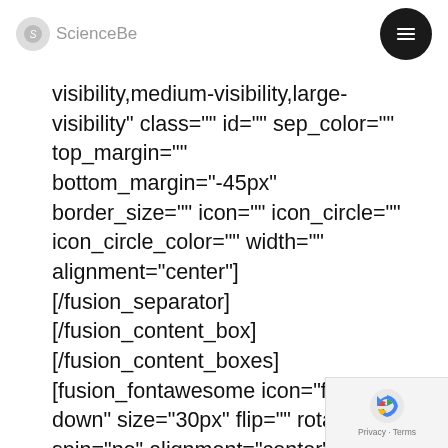ScienceBe [logo] [menu button]
visibility,medium-visibility,large-visibility" class="" id="" sep_color="" top_margin="" bottom_margin="-45px" border_size="" icon="" icon_circle="" icon_circle_color="" width="" alignment="center"][/fusion_separator] [/fusion_content_box] [/fusion_content_boxes] [fusion_fontawesome icon="fa-angle-down" size="30px" flip="" rotate="" spin="no" alignment="center" hide_on_mobile="small-visibility,medium-visibility,large-visibility" class="" id="" circle="no" iconcolor="" circlecolor=""